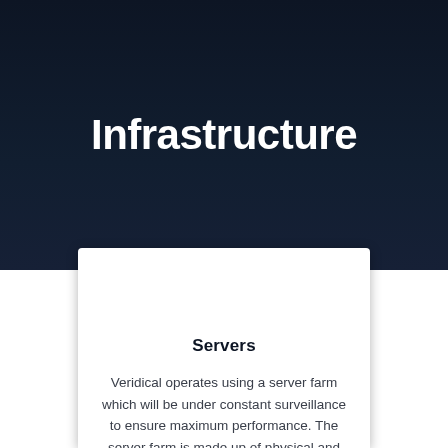Infrastructure
Servers
Veridical operates using a server farm which will be under constant surveillance to ensure maximum performance. The server farm is made up of physical and virtualised systems